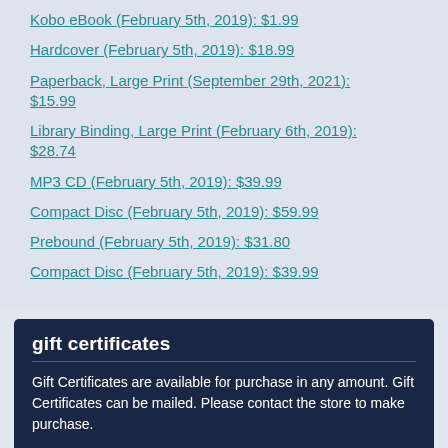Kobo eBook (February 5th, 2019): $1.99
Hardcover (February 5th, 2019): $18.99
Paperback, Large Print (September 29th, 2021): $15.99
Library Binding, Large Print (February 6th, 2019): $28.74
MP3 CD (February 5th, 2019): $39.99
Compact Disc (February 5th, 2019): $59.99
Prebound (February 5th, 2019): $31.80
Compact Disc (February 5th, 2019): $39.99
gift certificates
Gift Certificates are available for purchase in any amount. Gift Certificates can be mailed. Please contact the store to make purchase.